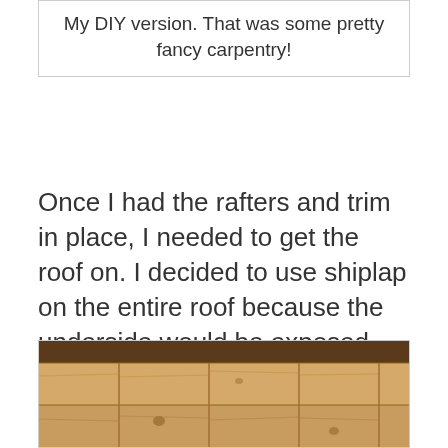My DIY version. That was some pretty fancy carpentry!
Once I had the rafters and trim in place, I needed to get the roof on. I decided to use shiplap on the entire roof because the underside would be exposed and I wanted a nice look.
[Figure (photo): Photo of wooden shiplap ceiling boards installed, showing light-colored pine planks with visible wood grain and knots, with a darker trim board along the top edge.]